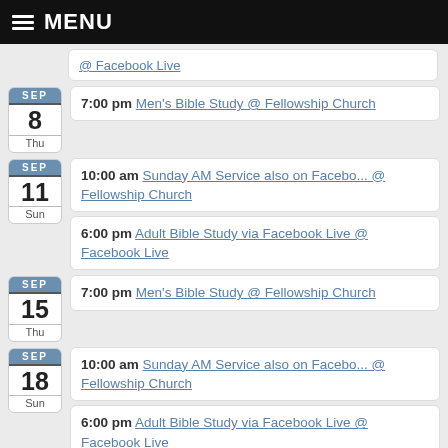MENU
@ Facebook Live (partial, top)
SEP 8 Thu — 7:00 pm Men's Bible Study @ Fellowship Church
SEP 11 Sun — 10:00 am Sunday AM Service also on Facebo... @ Fellowship Church
SEP 11 Sun — 6:00 pm Adult Bible Study via Facebook Live @ Facebook Live
SEP 15 Thu — 7:00 pm Men's Bible Study @ Fellowship Church
SEP 18 Sun — 10:00 am Sunday AM Service also on Facebo... @ Fellowship Church
SEP 18 Sun — 6:00 pm Adult Bible Study via Facebook Live @ Facebook Live
View Calendar →